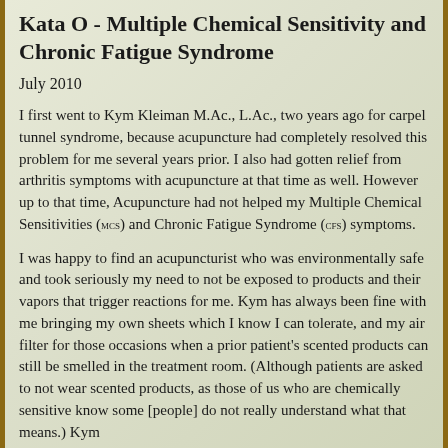Kata O - Multiple Chemical Sensitivity and Chronic Fatigue Syndrome
July 2010
I first went to Kym Kleiman M.Ac., L.Ac., two years ago for carpel tunnel syndrome, because acupuncture had completely resolved this problem for me several years prior. I also had gotten relief from arthritis symptoms with acupuncture at that time as well. However up to that time, Acupuncture had not helped my Multiple Chemical Sensitivities (MCS) and Chronic Fatigue Syndrome (CFS) symptoms.
I was happy to find an acupuncturist who was environmentally safe and took seriously my need to not be exposed to products and their vapors that trigger reactions for me. Kym has always been fine with me bringing my own sheets which I know I can tolerate, and my air filter for those occasions when a prior patient's scented products can still be smelled in the treatment room. (Although patients are asked to not wear scented products, as those of us who are chemically sensitive know some [people] do not really understand what that means.) Kym